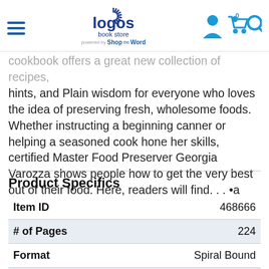Logos Book Store — powered by ShopTheWord
cookbook offers a great new collection of recipes, hints, and Plain wisdom for everyone who loves the idea of preserving fresh, wholesome foods. Whether instructing a beginning canner or helping a seasoned cook hone her skills, certified Master Food Preserver Georgia Varozza shows people how to get the very best out of their food. Here, readers will find. . . •a short history of canning •lists of all… Show More
Product Specifics
|  |  |
| --- | --- |
| Item ID | 468666 |
| # of Pages | 224 |
| Format | Spiral Bound |
| Publish Date | Jun. 15th, 2013 |